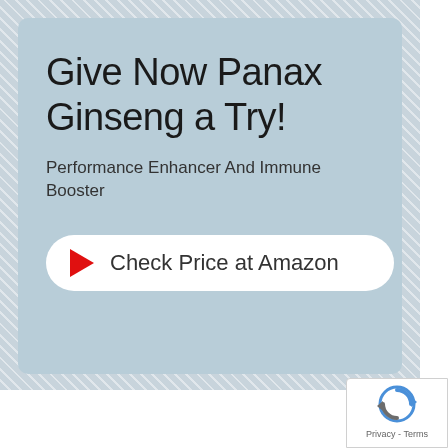Give Now Panax Ginseng a Try!
Performance Enhancer And Immune Booster
Check Price at Amazon
[Figure (logo): Google reCAPTCHA badge with spinning arrow logo icon and 'Privacy - Terms' text]